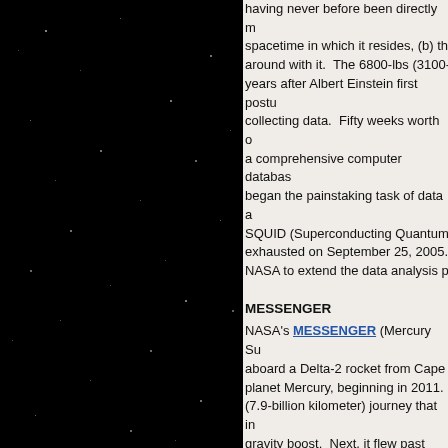[Figure (photo): Dark starfield image showing black space with scattered small white star dots]
having never before been directly measured, spacetime in which it resides, (b) the around with it.  The 6800-lbs (3100- years after Albert Einstein first postu collecting data.  Fifty weeks worth o a comprehensive computer databas began the painstaking task of data a SQUID (Superconducting Quantum exhausted on September 25, 2005. NASA to extend the data analysis p
MESSENGER
NASA's MESSENGER (Mercury Su aboard a Delta-2 rocket from Cape planet Mercury, beginning in 2011.  (7.9-billion kilometer) journey that in gravity boost.  Next, it flew past Ven changed the spacecraft's direction a MESSENGER on target for a flyby o track for its March 2011 orbit inserti
MESSENGER will be the first probe observations were made since Venu resulted in a two-week radio contac opportunities for new observations o most of its instruments on Venus du months later by a course correction the flybys - set for January 2008, Oc after Mariner 10 flew past it three ti entire planet in color, image most of